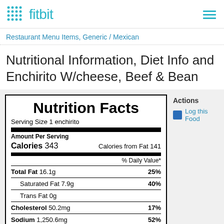fitbit
Restaurant Menu Items, Generic / Mexican
Nutritional Information, Diet Info and Enchirito W/cheese, Beef & Bean
| Nutrient | Amount | % Daily Value |
| --- | --- | --- |
| Serving Size | 1 enchirito |  |
| Calories | 343 |  |
| Calories from Fat | 141 |  |
| Total Fat | 16.1g | 25% |
| Saturated Fat | 7.9g | 40% |
| Trans Fat | 0g |  |
| Cholesterol | 50.2mg | 17% |
| Sodium | 1,250.6mg | 52% |
| Potassium | 559.7mg | 16% |
| Total Carbohydrate | 33.8g | 11% |
Actions
Log this Food